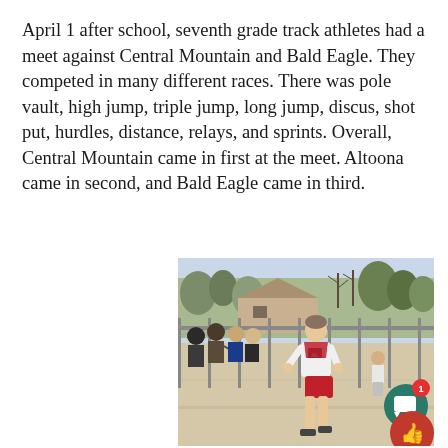April 1 after school, seventh grade track athletes had a meet against Central Mountain and Bald Eagle. They competed in many different races. There was pole vault, high jump, triple jump, long jump, discus, shot put, hurdles, distance, relays, and sprints. Overall, Central Mountain came in first at the meet. Altoona came in second, and Bald Eagle came in third.
[Figure (photo): A young female runner in a white long-sleeve shirt and red shorts competing in a track meet. Spectators line a chain-link fence on the left side. Trees and buildings are visible in the background. UI overlays (chat bubble with notification badge and thumbs-up button) appear in the bottom-right corner.]